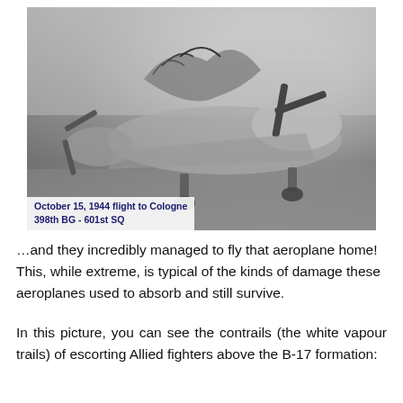[Figure (photo): Black and white photograph of a heavily damaged B-17 bomber aircraft on the ground. The nose section is severely mangled with twisted metal. Two propellers are visible. Caption overlay reads: October 15, 1944 flight to Cologne / 398th BG - 601st SQ]
October 15, 1944 flight to Cologne
398th BG - 601st SQ
…and they incredibly managed to fly that aeroplane home! This, while extreme, is typical of the kinds of damage these aeroplanes used to absorb and still survive.
In this picture, you can see the contrails (the white vapour trails) of escorting Allied fighters above the B-17 formation: